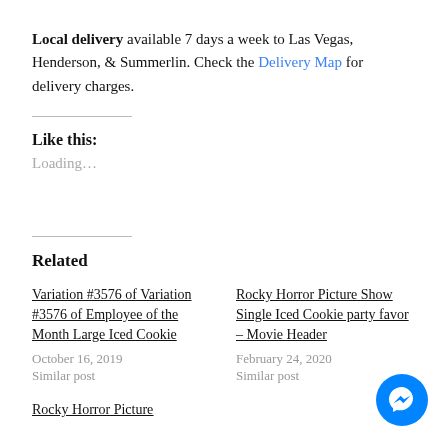Local delivery available 7 days a week to Las Vegas, Henderson, & Summerlin. Check the Delivery Map for delivery charges.
Like this:
Loading…
Related
Variation #3576 of Variation #3576 of Employee of the Month Large Iced Cookie
October 16, 2019
Similar post
Rocky Horror Picture Show Single Iced Cookie party favor – Movie Header
February 24, 2020
Similar post
Rocky Horror Picture